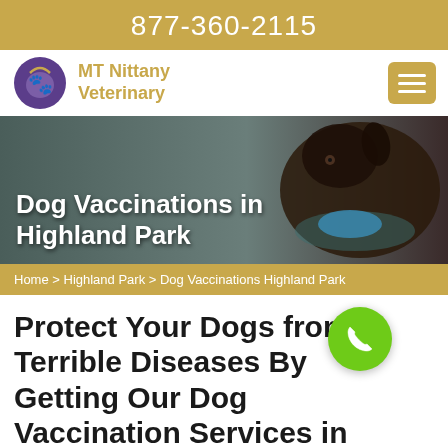877-360-2115
[Figure (logo): MT Nittany Veterinary logo with purple cat/dog icon and gold text]
[Figure (photo): Dark brown/black wire-haired dog wearing a blue bandana, hero banner image]
Dog Vaccinations in Highland Park
Home > Highland Park > Dog Vaccinations Highland Park
Protect Your Dogs from Terrible Diseases By Getting Our Dog Vaccination Services in Highland Park. We Are A